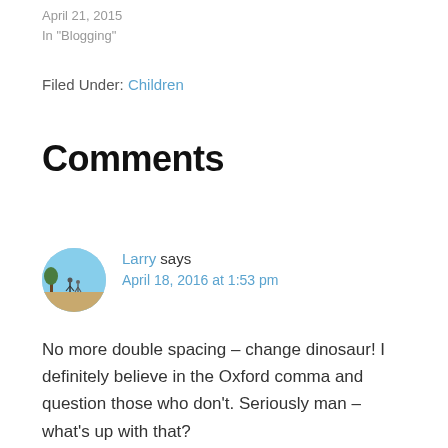April 21, 2015
In "Blogging"
Filed Under: Children
Comments
Larry says
April 18, 2016 at 1:53 pm
No more double spacing – change dinosaur! I definitely believe in the Oxford comma and question those who don't. Seriously man – what's up with that?